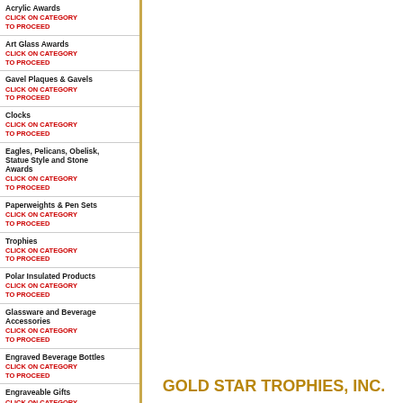Acrylic Awards
CLICK ON CATEGORY TO PROCEED
Art Glass Awards
CLICK ON CATEGORY TO PROCEED
Gavel Plaques & Gavels
CLICK ON CATEGORY TO PROCEED
Clocks
CLICK ON CATEGORY TO PROCEED
Eagles, Pelicans, Obelisk, Statue Style and Stone Awards
CLICK ON CATEGORY TO PROCEED
Paperweights & Pen Sets
CLICK ON CATEGORY TO PROCEED
Trophies
CLICK ON CATEGORY TO PROCEED
Polar Insulated Products
CLICK ON CATEGORY TO PROCEED
Glassware and Beverage Accessories
CLICK ON CATEGORY TO PROCEED
Engraved Beverage Bottles
CLICK ON CATEGORY TO PROCEED
Engraveable Gifts
CLICK ON CATEGORY TO PROCEED
GOLD STAR TROPHIES, INC.